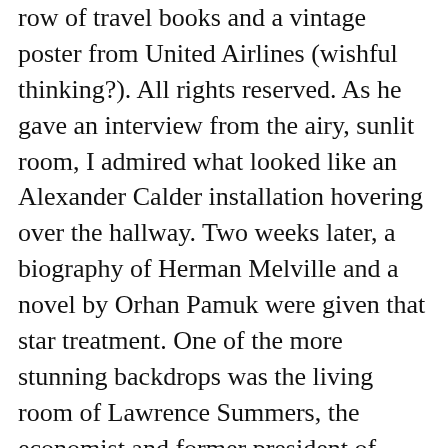row of travel books and a vintage poster from United Airlines (wishful thinking?). All rights reserved. As he gave an interview from the airy, sunlit room, I admired what looked like an Alexander Calder installation hovering over the hallway. Two weeks later, a biography of Herman Melville and a novel by Orhan Pamuk were given that star treatment. One of the more stunning backdrops was the living room of Lawrence Summers, the economist and former president of Harvard University. But the bookshelves that have most fascinated me have been those of Eddie Glaude, the chair of the Department of African American Studies at Princeton and a frequent contributor to MSNBC. Know what questions you're going to ask and why you're going to ask them. Vector. There's a lot to like about the background-image property. News Opinion Sport Culture Lifestyle Show More News US news Elections 2020 World news … Chinese mining firms in Zimbabwe pose threat to